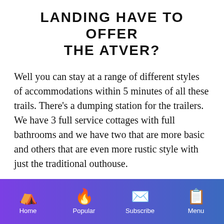LANDING HAVE TO OFFER THE ATVER?
Well you can stay at a range of different styles of accommodations within 5 minutes of all these trails. There's a dumping station for the trailers. We have 3 full service cottages with full bathrooms and we have two that are more basic and others that are even more rustic style with just the traditional outhouse.
We also have overnight campsites with a
Home | Popular | Subscribe | Menu